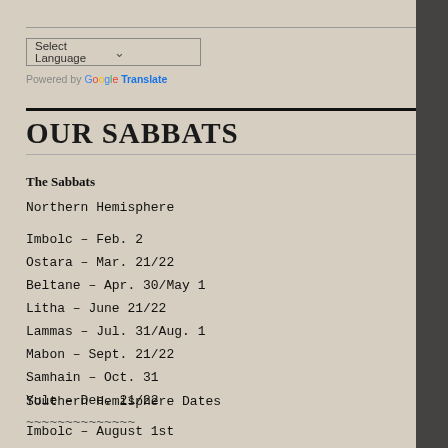Select Language (dropdown)
Powered by Google Translate
OUR SABBATS
The Sabbats
Northern Hemisphere
Imbolc – Feb. 2
Ostara – Mar. 21/22
Beltane – Apr. 30/May 1
Litha – June 21/22
Lammas – Jul. 31/Aug. 1
Mabon – Sept. 21/22
Samhain – Oct. 31
Yule – Dec. 21/22
~~~~~~~~~~~~~~
Southern Hemisphere Dates
Imbolc – August 1st